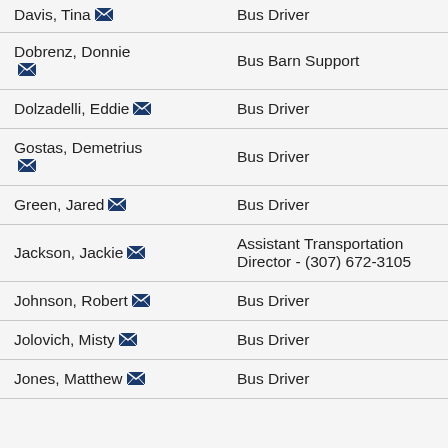| Name | Role |
| --- | --- |
| Davis, Tina [email] | Bus Driver |
| Dobrenz, Donnie [email] | Bus Barn Support |
| Dolzadelli, Eddie [email] | Bus Driver |
| Gostas, Demetrius [email] | Bus Driver |
| Green, Jared [email] | Bus Driver |
| Jackson, Jackie [email] | Assistant Transportation Director - (307) 672-3105 |
| Johnson, Robert [email] | Bus Driver |
| Jolovich, Misty [email] | Bus Driver |
| Jones, Matthew [email] | Bus Driver |